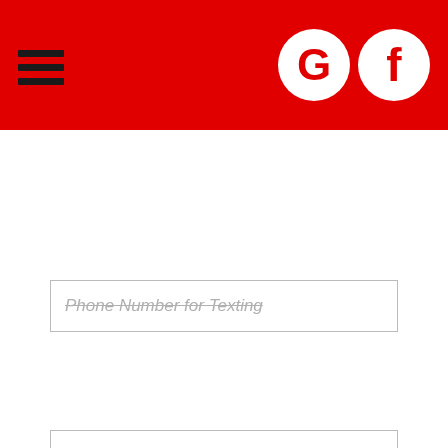[Figure (screenshot): Red navigation header bar with hamburger menu icon on left and Google and Facebook circular white icons on the right]
Phone Number for Texting
Question? How can we help YOU?